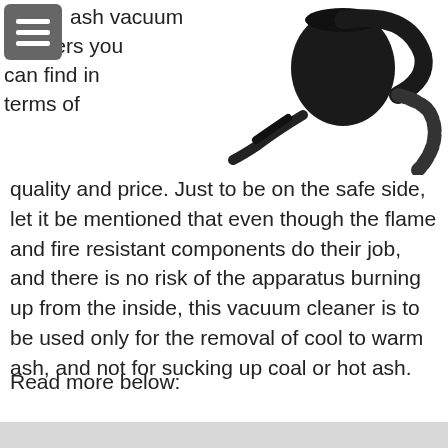[Figure (photo): Black ash vacuum cleaner with hose attachment, shown on white background]
ash vacuum cleaners you can find in terms of quality and price. Just to be on the safe side, let it be mentioned that even though the flame and fire resistant components do their job, and there is no risk of the apparatus burning up from the inside, this vacuum cleaner is to be used only for the removal of cool to warm ash, and not for sucking up coal or hot ash.
Read more below: